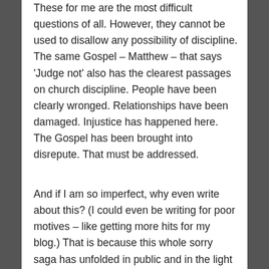These for me are the most difficult questions of all. However, they cannot be used to disallow any possibility of discipline. The same Gospel – Matthew – that says 'Judge not' also has the clearest passages on church discipline. People have been clearly wronged. Relationships have been damaged. Injustice has happened here. The Gospel has been brought into disrepute. That must be addressed.
And if I am so imperfect, why even write about this? (I could even be writing for poor motives – like getting more hits for my blog.) That is because this whole sorry saga has unfolded in public and in the light of the massive public claims Bentley and others made about the Lakeland movement and the like, all of which were